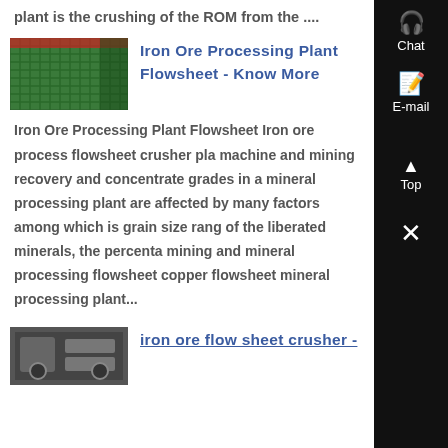plant is the crushing of the ROM from the ....
[Figure (photo): Thumbnail image showing green mesh/grating material on a conveyor or processing surface]
Iron Ore Processing Plant Flowsheet - Know More
Iron Ore Processing Plant Flowsheet Iron ore process flowsheet crusher plant machine and mining recovery and concentrate grades in a mineral processing plant are affected by many factors among which is grain size range of the liberated minerals, the percentage mining and mineral processing flowsheet copper flowsheet mineral processing plant...
[Figure (photo): Thumbnail image of iron ore flow sheet crusher equipment]
iron ore flow sheet crusher -